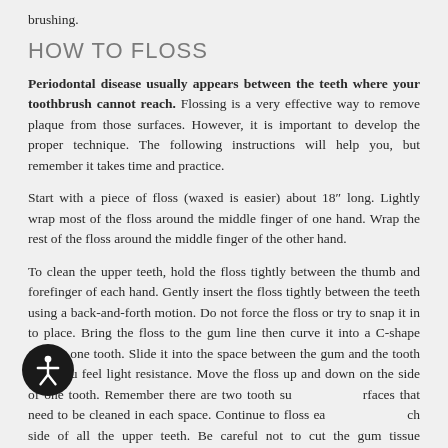brushing.
HOW TO FLOSS
Periodontal disease usually appears between the teeth where your toothbrush cannot reach. Flossing is a very effective way to remove plaque from those surfaces. However, it is important to develop the proper technique. The following instructions will help you, but remember it takes time and practice.
Start with a piece of floss (waxed is easier) about 18" long. Lightly wrap most of the floss around the middle finger of one hand. Wrap the rest of the floss around the middle finger of the other hand.
To clean the upper teeth, hold the floss tightly between the thumb and forefinger of each hand. Gently insert the floss tightly between the teeth using a back-and-forth motion. Do not force the floss or try to snap it in to place. Bring the floss to the gum line then curve it into a C-shape against one tooth. Slide it into the space between the gum and the tooth until you feel light resistance. Move the floss up and down on the side of one tooth. Remember there are two tooth surfaces that need to be cleaned in each space. Continue to floss each side of all the upper teeth. Be careful not to cut the gum tissue between the teeth. As the floss becomes soiled, turn from one finger to the other to get a fresh section.